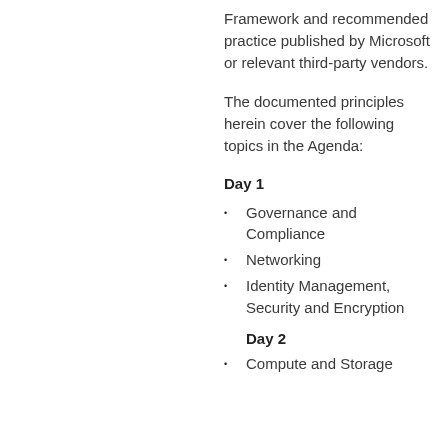Framework and recommended practice published by Microsoft or relevant third-party vendors.
The documented principles herein cover the following topics in the Agenda:
Day 1
Governance and Compliance
Networking
Identity Management, Security and Encryption
Day 2
Compute and Storage